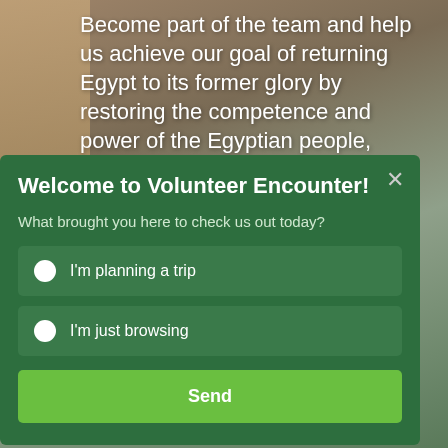Become part of the team and help us achieve our goal of returning Egypt to its former glory by restoring the competence and power of the Egyptian people, through helping to enable local
Welcome to Volunteer Encounter!
What brought you here to check us out today?
I'm planning a trip
I'm just browsing
Send
you will be playing a vital role in alleviating Egypt's illiteracy and poverty rates.